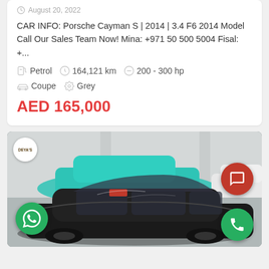August 20, 2022
CAR INFO: Porsche Cayman S | 2014 | 3.4 F6 2014 Model Call Our Sales Team Now! Mina: +971 50 500 5004 Fisal: +...
Petrol   164,121 km   200 - 300 hp
Coupe   Grey
AED 165,000
[Figure (photo): A black Porsche Cayman S parked in a car showroom, with a teal/turquoise car and white car visible in the background. Dealer logo badge, chat button (red), WhatsApp button (green), and phone button (green) overlay the image.]